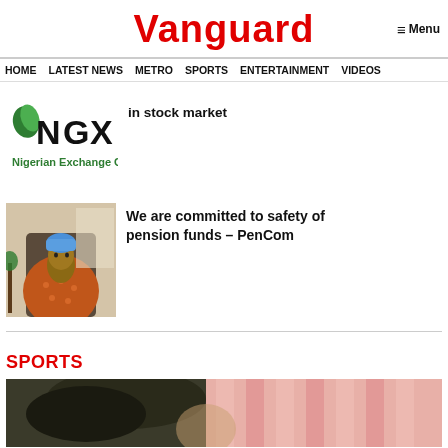Vanguard
Menu
HOME  LATEST NEWS  METRO  SPORTS  ENTERTAINMENT  VIDEOS
[Figure (logo): Nigerian Exchange Group (NGX) logo with green octagon shape and 'NGX' text, 'Nigerian Exchange Group' below in green]
in stock market
[Figure (photo): Woman in blue headwrap and orange patterned dress seated in office chair]
We are committed to safety of pension funds – PenCom
SPORTS
[Figure (photo): Sports photo showing person with dark hair against pink/red striped background]